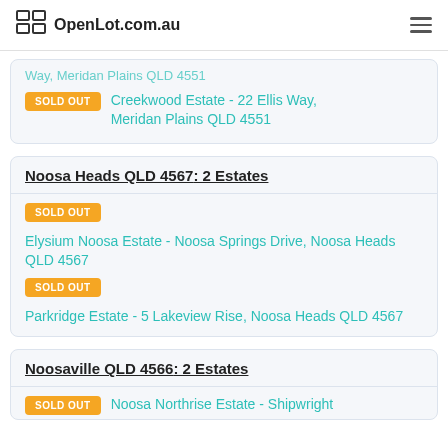OpenLot.com.au
Way, Meridan Plains QLD 4551 (partial, cut off at top)
SOLD OUT   Creekwood Estate - 22 Ellis Way, Meridan Plains QLD 4551
Noosa Heads QLD 4567: 2 Estates
SOLD OUT   Elysium Noosa Estate - Noosa Springs Drive, Noosa Heads QLD 4567
SOLD OUT   Parkridge Estate - 5 Lakeview Rise, Noosa Heads QLD 4567
Noosaville QLD 4566: 2 Estates
SOLD OUT   Noosa Northrise Estate - Shipwright (partial, cut off at bottom)